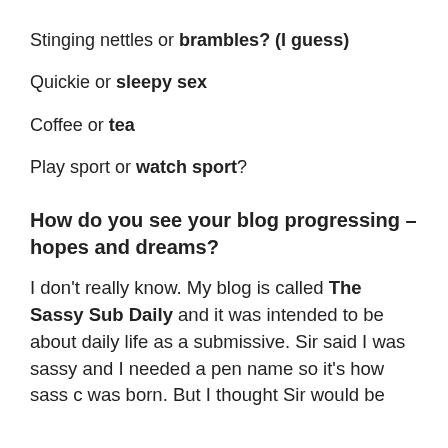Stinging nettles or brambles? (I guess)
Quickie or sleepy sex
Coffee or tea
Play sport or watch sport?
How do you see your blog progressing – hopes and dreams?
I don't really know. My blog is called The Sassy Sub Daily and it was intended to be about daily life as a submissive. Sir said I was sassy and I needed a pen name so it's how sass c was born. But I thought Sir would be